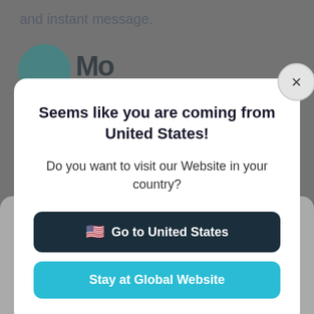and instant message.
[Figure (screenshot): Modal dialog overlay on a website. Dark background with a white modal popup. Modal contains bold title 'Seems like you are coming from United States!', body text 'Do you want to visit our Website in your country?', a dark button 'Go to United States' with US flag emoji, and a teal/cyan button 'Stay at Global Website'. A close (x) button appears in the top-right corner of the modal.]